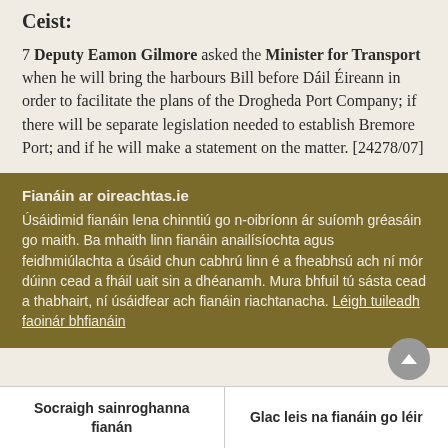Ceist:
7 Deputy Eamon Gilmore asked the Minister for Transport when he will bring the harbours Bill before Dáil Éireann in order to facilitate the plans of the Drogheda Port Company; if there will be separate legislation needed to establish Bremore Port; and if he will make a statement on the matter. [24278/07]
Fianáin ar oireachtas.ie
Úsáidimid fianáin lena chinntiú go n-oibríonn ár suíomh gréasáin go maith. Ba mhaith linn fianáin anailísíochta agus feidhmiúlachta a úsáid chun cabhrú linn é a fheabhsú ach ní mór dúinn cead a fháil uait sin a dhéanamh. Mura bhfuil tú sásta cead a thabhairt, ní úsáidfear ach fianáin riachtanacha. Léigh tuileadh faoinár bhfianáin
Socraigh sainroghanna fianán
Glac leis na fianáin go léir